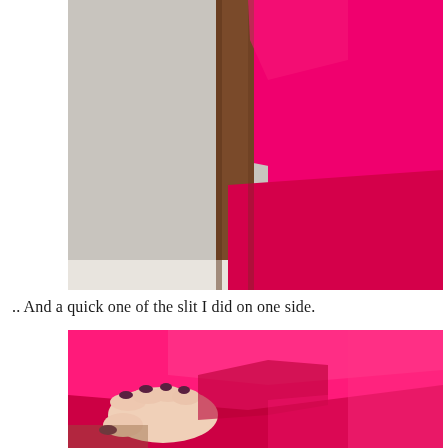[Figure (photo): Photo of a hot pink and red dress on a dress form/mannequin. The upper portion is bright fuchsia/hot pink fabric, and the lower portion transitions to a deeper red-pink. A wooden dress form stand is partially visible in the center.]
.. And a quick one of the slit I did on one side.
[Figure (photo): Close-up photo of a hand pulling apart two layers of fabric — hot pink on top and red/crimson on the bottom — showing the slit detail on the side of the dress. The hand has dark-colored nail polish.]